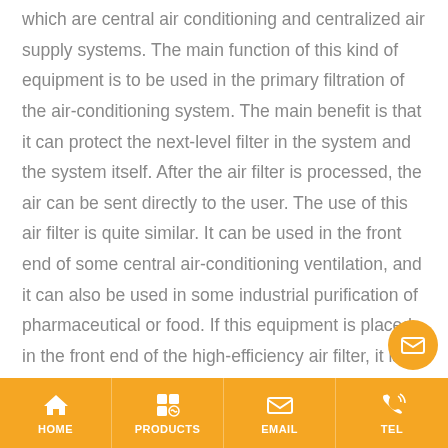which are central air conditioning and centralized air supply systems. The main function of this kind of equipment is to be used in the primary filtration of the air-conditioning system. The main benefit is that it can protect the next-level filter in the system and the system itself. After the air filter is processed, the air can be sent directly to the user. The use of this air filter is quite similar. It can be used in the front end of some central air-conditioning ventilation, and it can also be used in some industrial purification of pharmaceutical or food. If this equipment is placed in the front end of the high-efficiency air filter, it is often It can reduce the load of the high-efficiency air filter and prolong its service life. For this
HOME | PRODUCTS | EMAIL | TEL